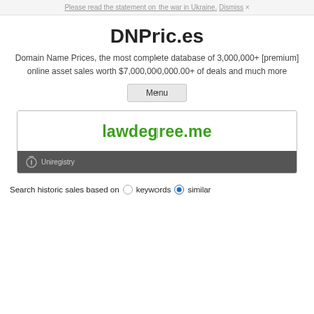Please read the statement on the war in Ukraine. Dismiss ×
DNPric.es
Domain Name Prices, the most complete database of 3,000,000+ [premium] online asset sales worth $7,000,000,000.00+ of deals and much more
Menu
[Figure (screenshot): Domain listing card showing lawdegree.me in green bold text with Uniregistry registrar label on dark background]
Search historic sales based on   keywords   similar